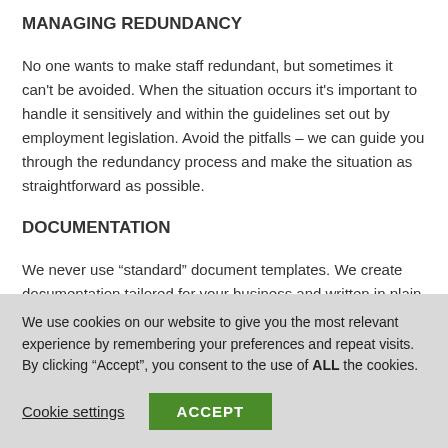MANAGING REDUNDANCY
No one wants to make staff redundant, but sometimes it can't be avoided. When the situation occurs it's important to handle it sensitively and within the guidelines set out by employment legislation. Avoid the pitfalls – we can guide you through the redundancy process and make the situation as straightforward as possible.
DOCUMENTATION
We never use “standard” document templates. We create documentation tailored for your business and written in plain English.
We use cookies on our website to give you the most relevant experience by remembering your preferences and repeat visits. By clicking “Accept”, you consent to the use of ALL the cookies.
Cookie settings
ACCEPT